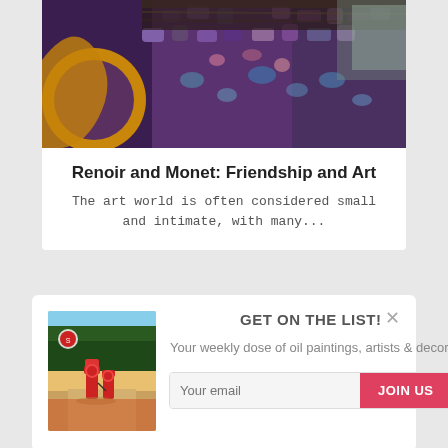[Figure (photo): Cropped painting showing impressionist style art with dark purples, blues, and earth tones, with a yellow circular element on the left]
Renoir and Monet: Friendship and Art
The art world is often considered small and intimate, with many...
[Figure (photo): Small thumbnail painting of a gas station scene with red vintage gas pumps, trees in background, warm orange/red tones]
GET ON THE LIST!
Your weekly dose of oil paintings, artists & decor.